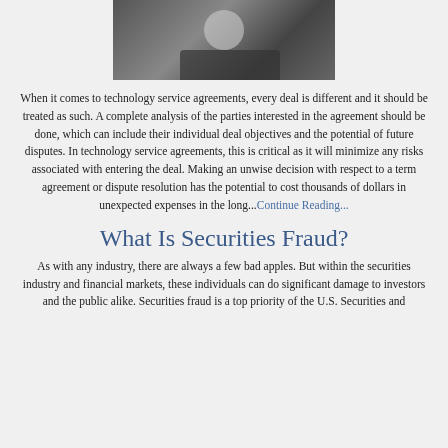[Figure (photo): Person at desk working on a laptop, viewed from behind/side, office environment]
When it comes to technology service agreements, every deal is different and it should be treated as such. A complete analysis of the parties interested in the agreement should be done, which can include their individual deal objectives and the potential of future disputes. In technology service agreements, this is critical as it will minimize any risks associated with entering the deal. Making an unwise decision with respect to a term agreement or dispute resolution has the potential to cost thousands of dollars in unexpected expenses in the long...Continue Reading...
What Is Securities Fraud?
As with any industry, there are always a few bad apples. But within the securities industry and financial markets, these individuals can do significant damage to investors and the public alike. Securities fraud is a top priority of the U.S. Securities and